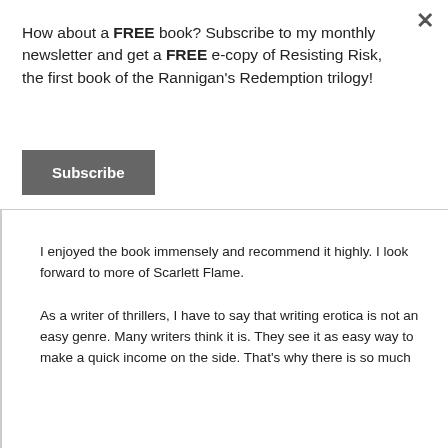How about a FREE book? Subscribe to my monthly newsletter and get a FREE e-copy of Resisting Risk, the first book of the Rannigan's Redemption trilogy!
Subscribe
I enjoyed the book immensely and recommend it highly. I look forward to more of Scarlett Flame.
As a writer of thrillers, I have to say that writing erotica is not an easy genre. Many writers think it is. They see it as easy way to make a quick income on the side. That's why there is so much